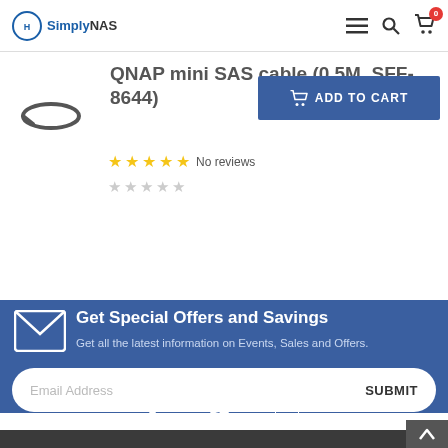SimplyNAS
QNAP mini SAS cable (0.5M, SFF-8644)
No reviews
[Figure (screenshot): ADD TO CART button]
Get Special Offers and Savings
Get all the latest information on Events, Sales and Offers.
Email Address SUBMIT
[Figure (illustration): Social media icons: Facebook, Twitter, YouTube]